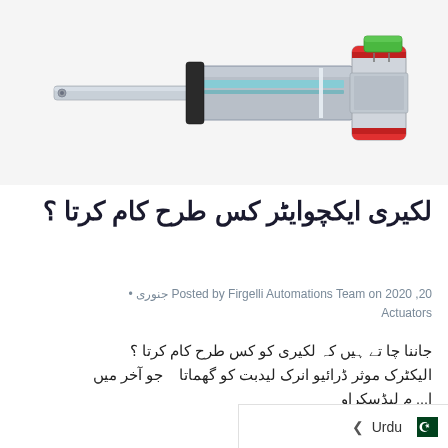[Figure (photo): Cutaway/cross-section illustration of a linear actuator showing internal components including motor, leadscrew, and rod against a light grey background.]
لکیری ایکچوایٹر کس طرح کام کرتا ؟
Posted by Firgelli Automations Team on 20 جنوری 2020 • Actuators
جاننا چا تے ہیں کہ لکیری کو کس طرح کام کرتا ؟ الیکٹرک موثر ڈرائیو انرک لیدبت کو گھماتا جو آخر میں ا... م لیڈسکراو